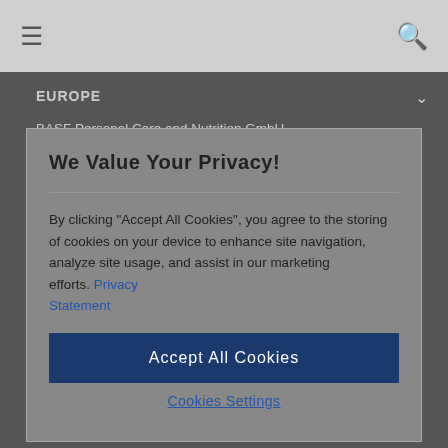≡  🔍
EUROPE
BASF Personal Care and Nutrition GmbH
CM1, Rheinpromenade 1
40789 Monheim
Germany
Phone: +49 2173 4935 0
Fax: +49 2173 4895 500
personal-care-eu@basf.com
INFORMATION
We Value Your Privacy!
By clicking "Accept All Cookies", you agree to the storing of cookies on your device to enhance site navigation, analyze site usage, and assist in our marketing efforts. Privacy Statement
Accept All Cookies
Cookies Settings
Imprint
Disclaimer
Privacy
Social Media Information